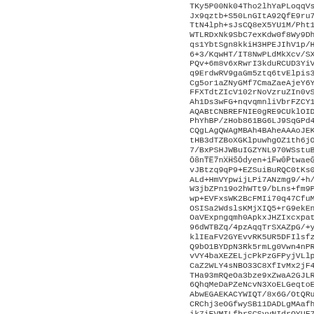TKy5P00Nk04Tho2lhYaPLoqqVsdnWc3obgLyoP1KDElzd
Jx9qztb+S50LnGItA92QfE9ru7FAE00RR6mpCv1h7uE28/
TtN4lph+sJsCQ8eX5YU1M/Pht1h/LoE8h4hXNfAGh+CZgc
WTLRDxNk9SbC7exKdw0f8Wy9DhX2Qqoi96piS99CMJSxed
qs1YbtSgn8kkiH3HPEJIhV1p/Hvz47j4kXq7PnjqF7KAd0
6+3/KqwHT/IT8NwPLdMkXcv/SXqhuKpqa2ApIrhu04VFp4
PQv+6m8v6xRwrI3kduRCUD3YiVPM3E0hqINk9XMuxAoVX3
q9ErdwRV9gaGm5ztq6tvElpis3spM7BPHzbv0SvVRAAbg0
Cg5or1aZNyGMf7CmaZaeAjeY6Y8FZXR1P+n/IFd9Ak83a3
FFXTdtZIcV102rNoVzruZIn0vSK1DJ7bNNrHkm1PPcweMk
Ah1Ds3wFG+nqvqmnliVbrFZCY1ReMrWWI2YBwLC5uBcBpP
AQABtCNBREFNIE0gRE9CUklOIDxhZGFtNUBwcm90b25tYW
PhYhBP/zHob861BG6LJ9SqGPd44Z/DJIBQJeh2q0AhsDB0
CQgLAgQWAgMBAh4BAheAAAoJEKGPd44Z/DJIKtgL/0JQEz
tHB3dTZBoXGKlpuwhgOZ1th6jOnGPdMZRYnX8Zuf7QhaI7
7/BxPSHJWBuIGZYNL970WSstuBhNtyxfCftDkeBCqJ+1An
O8nTE7nXHSOdyen+1Fw0PtwaeG9uJvOhgRsmQ+mtAiJ1OL
vJBtzq9qP9+EZSuiBuRQC0tKs01ECI5DzWLNXXC6X8k3Y0
ALd+HmVYpwijLPi7ANzmg9/+h/aq4VFP/4SyMd6EjaaQ86
W3jbZPn19o2hWTt9/bLns+fm9PgnPwdC+tS5LT26N6vhT/
wp+EVFxsWK2BcFMIi70q47CfuM1AUA+pgCenB4iSVwxs8A
OSISa2WdslsKMjXIQ5+rG9ekEn+rRO3EAQXRryBt4LkBj0
OaVExpngqmh0ApkxJHZIxcxpatk/lSBQfzHg6e1/7Joe98
96dWTBZq/4pzAqqTrSXAZpG/+yZ1WRWSXVQex1gZHPzsWY
klIEaFV2GYEvvRK5UR5DFIlsfzyyCBOUKvn0/hikqJjN2Y
Q9bO1BYDpN3Rk5rmLg0Vwn4nPRBET70MLQ5M4pU3Br6n+v
vVY4baXEZELjcPkPzGFPyjVLlpxKMHZ6v1Qb9ornTRGzc4
CaZ2WLY4sNBO33C8XfIvMx2jF4iIk3BrSrW/hirq6xpv1h
THa93mRQeOa3bze9xZwaA2GJLRG+xCIt15v/cNpQwCY1yh
6QhqMeDaPZeNcvN3XoELGeqtoE7gKAnLp2nQuVr4/pcaiA
AbwEGAEKACYWIQT/8x6G/OtQRuiyfUqhj3eOGfwySAUCXo
CRChj3eOGfwySB11DADLgMAafhdzRgzx7FLVVW80IfgiCT
ik7iEVMILfbrSCSvvNIdrQYUF7lQHAMkKPwp7u70AtxRQ